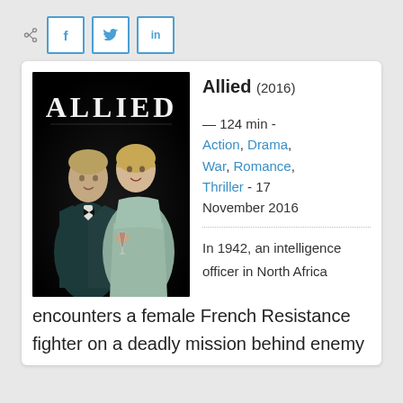[Figure (screenshot): Share icon and social media buttons: Facebook (f), Twitter (bird), LinkedIn (in)]
[Figure (photo): Movie poster for Allied (2016) showing a man in a tuxedo and a woman in a silver dress facing each other intimately against a black background, with 'ALLIED' text at the top]
Allied (2016)
— 124 min - Action, Drama, War, Romance, Thriller - 17 November 2016
In 1942, an intelligence officer in North Africa encounters a female French Resistance fighter on a deadly mission behind enemy